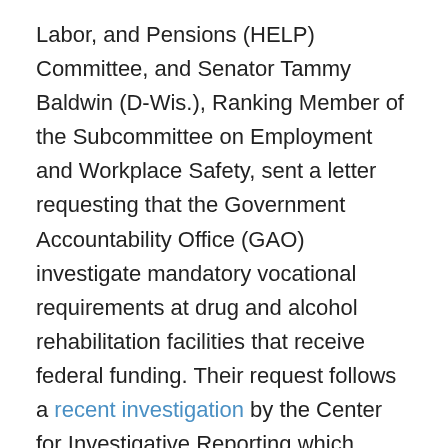Labor, and Pensions (HELP) Committee, and Senator Tammy Baldwin (D-Wis.), Ranking Member of the Subcommittee on Employment and Workplace Safety, sent a letter requesting that the Government Accountability Office (GAO) investigate mandatory vocational requirements at drug and alcohol rehabilitation facilities that receive federal funding. Their request follows a recent investigation by the Center for Investigative Reporting which found that individuals at some drug and alcohol rehabilitation facilities are being required to work, unpaid, as part of their treatment program, creating a "huge, unpaid shadow workforce."
Some rehabilitation facilities have mandatory work